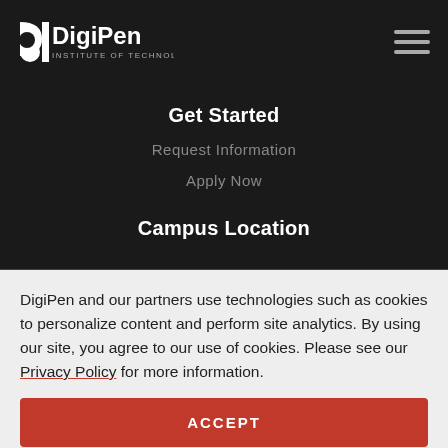[Figure (logo): DigiPen Institute of Technology logo in white on dark background]
Get Started
Request Information
Apply Now
Campus Location
DigiPen and our partners use technologies such as cookies to personalize content and perform site analytics. By using our site, you agree to our use of cookies. Please see our Privacy Policy for more information.
ACCEPT